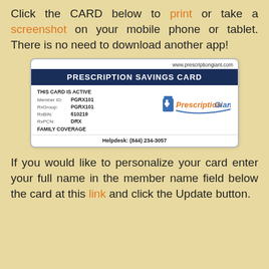Click the CARD below to print or take a screenshot on your mobile phone or tablet. There is no need to download another app!
[Figure (other): Prescription Savings Card showing Member ID: PGRX101, RxGroup: PGRX101, RxBIN: 610219, RxPCN: DRX, Family Coverage, Helpdesk: (844) 234-3057, website: www.prescriptiongiant.com, with PrescriptionGiant logo]
If you would like to personalize your card enter your full name in the member name field below the card at this link and click the Update button.